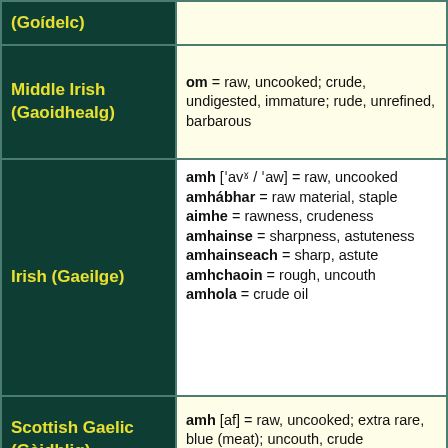| Language | Definition |
| --- | --- |
| (Goídelc) | (truncated top) |
| Middle Irish (Gaoidhealg) | om = raw, uncooked; crude, undigested, immature; rude, unrefined, barbarous |
| Irish (Gaeilge) | amh ['avˠ / 'aw] = raw, uncooked
amhábhar = raw material, staple
aimhe = rawness, crudeness
amhainse = sharpness, astuteness
amhainseach = sharp, astute
amhchaoin = rough, uncouth
amhola = crude oil |
| Scottish Gaelic (Gàidhlig) | amh [af] = raw, uncooked; extra rare, blue (meat); uncouth, crude
amhachd [avəxg] = rawness |
|  | aw = crude, raw, uncooked, |